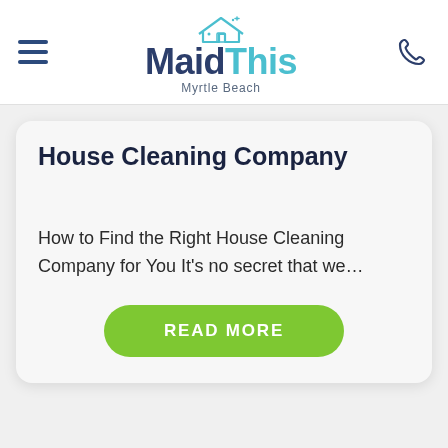[Figure (logo): MaidThis Myrtle Beach logo with house icon, hamburger menu icon on left, phone icon on right]
House Cleaning Company
How to Find the Right House Cleaning Company for You It’s no secret that we…
READ MORE